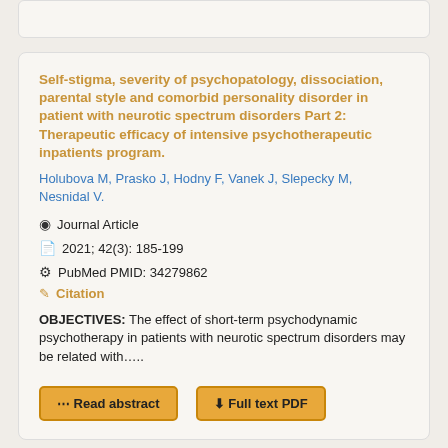Self-stigma, severity of psychopatology, dissociation, parental style and comorbid personality disorder in patient with neurotic spectrum disorders Part 2: Therapeutic efficacy of intensive psychotherapeutic inpatients program.
Holubova M, Prasko J, Hodny F, Vanek J, Slepecky M, Nesnidal V.
Journal Article
2021; 42(3): 185-199
PubMed PMID: 34279862
Citation
OBJECTIVES: The effect of short-term psychodynamic psychotherapy in patients with neurotic spectrum disorders may be related with.....